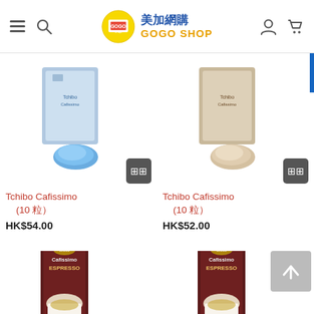美加網購 GOGO SHOP
[Figure (photo): Tchibo Cafissimo capsule product with blue capsule, top portion visible]
Tchibo Cafissimo (10 粒) HK$54.00
[Figure (photo): Tchibo Cafissimo capsule product with beige/cream capsule, top portion visible]
Tchibo Cafissimo (10 粒) HK$52.00
[Figure (photo): Tchibo Cafissimo Espresso box product with red capsule, bottom portion visible]
[Figure (photo): Tchibo Cafissimo Espresso box product with red capsule, bottom portion visible, with scroll-to-top button overlay]